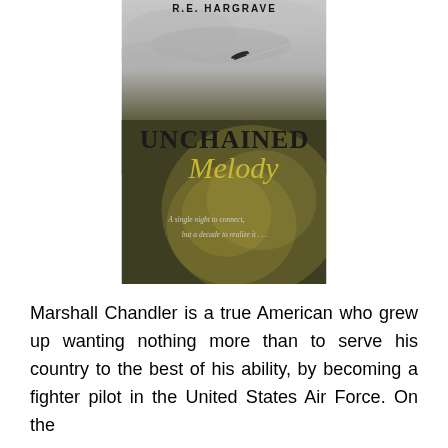[Figure (illustration): Book cover for 'Unchained Melody' by R.E. Hargrave. Shows a fighter jet in a grey cloudy sky at top. Author name 'R.E. HARGRAVE' at the top. Title 'UNCHAINED' in large dark serif text and 'Melody' in large gold/yellow italic script. Background shows a pale yellow rose. Taglines in italic: 'A single night to connect.' and 'but a decade to realize it . . .']
Marshall Chandler is a true American who grew up wanting nothing more than to serve his country to the best of his ability, by becoming a fighter pilot in the United States Air Force. On the